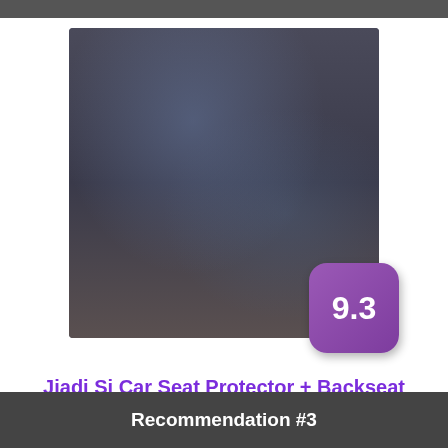[Figure (photo): Product photo of a car seat back organizer/protector with multiple pockets containing tablet, water bottles, and other items. Shows 2-pack product.]
Jiadi Si Car Seat Protector + Backseat Organizer
Check Price
Recommendation #3